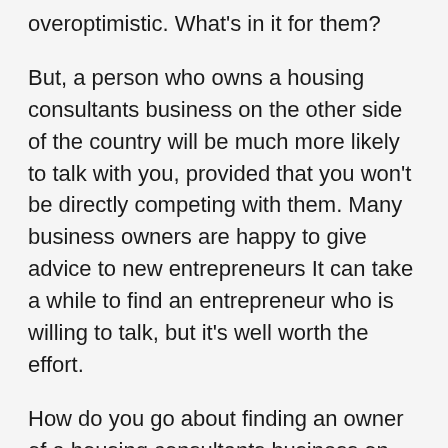overoptimistic. What's in it for them?
But, a person who owns a housing consultants business on the other side of the country will be much more likely to talk with you, provided that you won't be directly competing with them. Many business owners are happy to give advice to new entrepreneurs It can take a while to find an entrepreneur who is willing to talk, but it's well worth the effort.
How do you go about finding an owner of a housing consultants business on the other side of the country to talk to?
It's not that hard. Just use the handy link